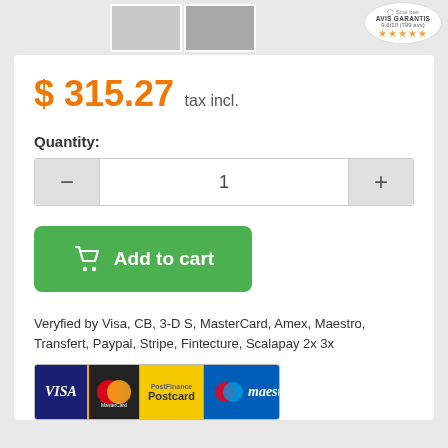[Figure (screenshot): Product thumbnail images and Avis Garantis badge with 9.6/10 rating and 5 stars]
$ 315.27 tax incl.
Quantity:
[Figure (other): Quantity selector with minus button, input field showing 1, and plus button]
[Figure (other): Add to cart green button with shopping cart icon]
Veryfied by Visa, CB, 3-D S, MasterCard, Amex, Maestro, Transfert, Paypal, Stripe, Fintecture, Scalapay 2x 3x
[Figure (other): Payment logos: Visa, MasterCard, PostCard, Maestro]